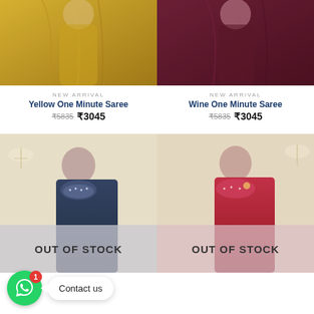[Figure (photo): Yellow/mustard saree draped on model, upper portion shown]
[Figure (photo): Wine/dark red saree draped on model, upper portion shown]
NEW ARRIVAL
Yellow One Minute Saree
₹5835  ₹3045
NEW ARRIVAL
Wine One Minute Saree
₹5835  ₹3045
[Figure (photo): Navy blue embellished saree on model with OUT OF STOCK overlay]
[Figure (photo): Red embellished saree on model with OUT OF STOCK overlay]
OUT OF STOCK
OUT OF STOCK
[Figure (screenshot): WhatsApp contact button with green circle icon showing badge '1' and 'Contact us' speech bubble]